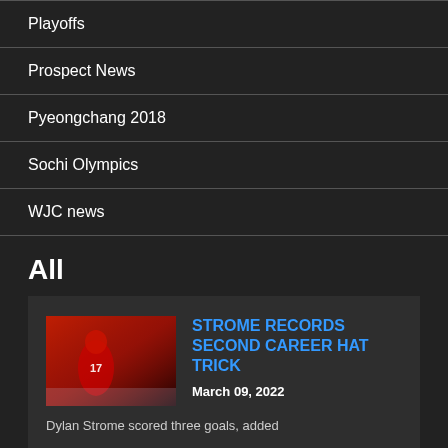Playoffs
Prospect News
Pyeongchang 2018
Sochi Olympics
WJC news
All
[Figure (photo): Hockey player wearing Chicago Blackhawks jersey number 17 in red, skating on ice during a game with crowd in background]
STROME RECORDS SECOND CAREER HAT TRICK
March 09, 2022
Dylan Strome scored three goals, added